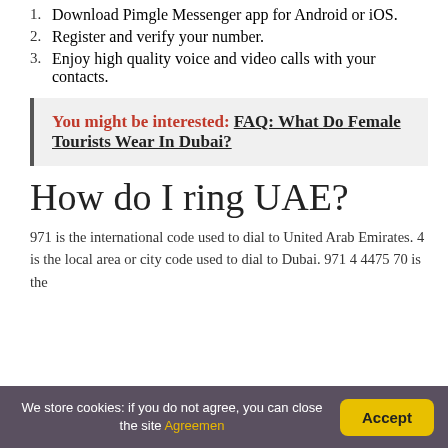1. Download Pimgle Messenger app for Android or iOS.
2. Register and verify your number.
3. Enjoy high quality voice and video calls with your contacts.
You might be interested: FAQ: What Do Female Tourists Wear In Dubai?
How do I ring UAE?
971 is the international code used to dial to United Arab Emirates. 4 is the local area or city code used to dial to Dubai. 971 4 4475 70 is the
We store cookies: if you do not agree, you can close the site Agreemen